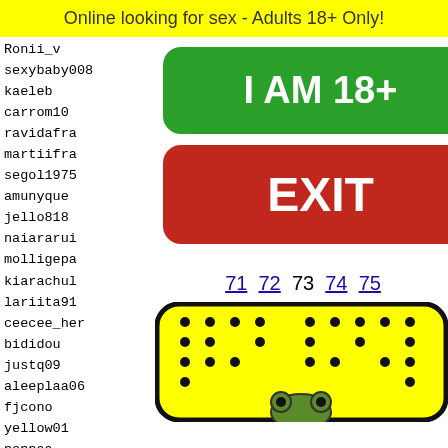Online looking for sex - Adults 18+ Only!
Ronii_v
sexybaby008
kaeleb
carrom10
ravidafra
martiifra
segol1975
amunyque
jello818
naiararui
molligepa
kiarachul
lariita91
ceecee_her
bididou
justq09
aleeplaa06
fjcono
yellow01
peppaa
giorss
hard2h
nascar
stepph
MizzDe
[Figure (other): Green rounded button with white bold text 'I AM 18+']
[Figure (other): Red rounded button with white bold text 'EXIT']
71 72 73 74 75
[Figure (illustration): Yellow rounded rectangle with black dot pattern and cartoon frog face at the bottom]